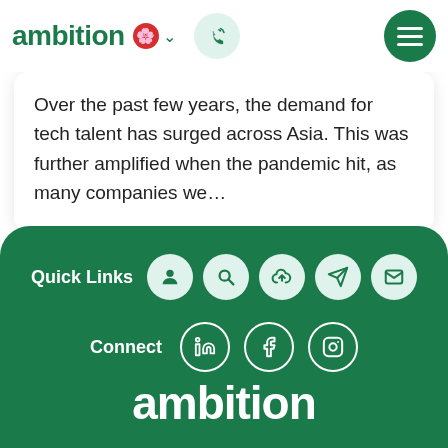[Figure (logo): Ambition company logo with green text, Hong Kong flag icon, chevron dropdown, phone icon button, and hamburger menu button]
Over the past few years, the demand for tech talent has surged across Asia. This was further amplified when the pandemic hit, as many companies we…
[Figure (infographic): Dark green footer section with Quick Links row (user, search, upload, navigation, email icons) and Connect row (LinkedIn, Facebook, Instagram icons), plus Ambition logo at bottom]